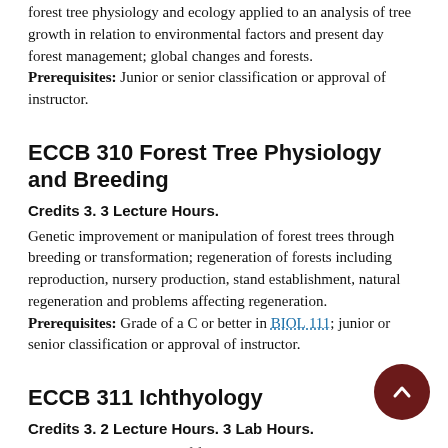forest tree physiology and ecology applied to an analysis of tree growth in relation to environmental factors and present day forest management; global changes and forests. Prerequisites: Junior or senior classification or approval of instructor.
ECCB 310 Forest Tree Physiology and Breeding
Credits 3. 3 Lecture Hours.
Genetic improvement or manipulation of forest trees through breeding or transformation; regeneration of forests including reproduction, nursery production, stand establishment, natural regeneration and problems affecting regeneration. Prerequisites: Grade of a C or better in BIOL 111; junior or senior classification or approval of instructor.
ECCB 311 Ichthyology
Credits 3. 2 Lecture Hours. 3 Lab Hours.
Introduction to the study of fishes, their biology,